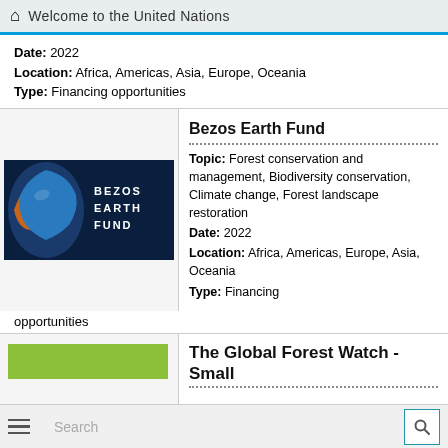Welcome to the United Nations
Date: 2022
Location: Africa, Americas, Asia, Europe, Oceania
Type: Financing opportunities
Bezos Earth Fund
Topic: Forest conservation and management, Biodiversity conservation, Climate change, Forest landscape restoration
Date: 2022
Location: Africa, Americas, Europe, Asia, Oceania
Type: Financing
[Figure (logo): Bezos Earth Fund logo: dark blue background with globe image on left, text BEZOS EARTH FUND on right in white]
opportunities
The Global Forest Watch - Small